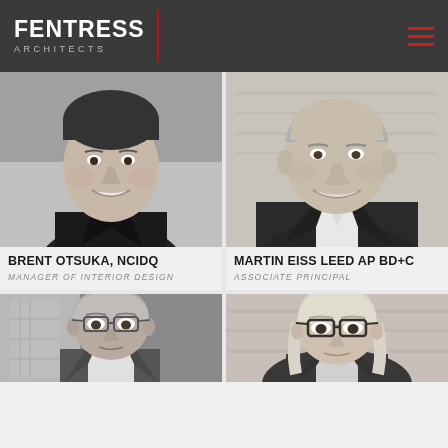FENTRESS ARCHITECTS
[Figure (photo): Black and white headshot of Brent Otsuka, a young man smiling, wearing a dark jacket]
BRENT OTSUKA, NCIDQ
MANAGER OF INTERIOR DESIGN
[Figure (photo): Black and white headshot of Martin Eiss, an older man smiling, wearing a suit and white shirt]
MARTIN EISS LEED AP BD+C
ASSOCIATE PRINCIPAL
[Figure (photo): Black and white partial photo of a man with glasses and gray hair]
[Figure (photo): Black and white partial photo of a woman with glasses and light hair]